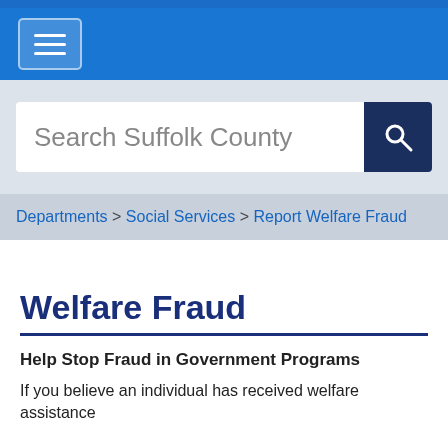[Figure (screenshot): Blue navigation bar with hamburger menu icon button]
[Figure (screenshot): Search box with placeholder text 'Search Suffolk County' and a dark blue search button with magnifying glass icon]
Departments > Social Services > Report Welfare Fraud
Welfare Fraud
Help Stop Fraud in Government Programs
If you believe an individual has received welfare assistance